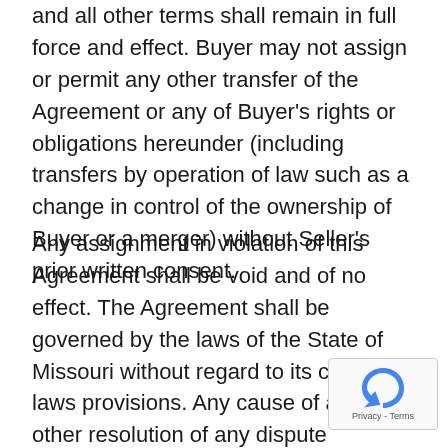and all other terms shall remain in full force and effect. Buyer may not assign or permit any other transfer of the Agreement or any of Buyer's rights or obligations hereunder (including transfers by operation of law such as a change in control of the ownership of Buyer or a merger) without Seller's prior written consent.
Any assignment in violation of this Agreement shall be void and of no effect. The Agreement shall be governed by the laws of the State of Missouri without regard to its conflict of laws provisions. Any cause of action or other resolution of any dispute hereunder shall be subject to the exclusive jurisdiction of any state or federal court located in Jackson County, Missouri. If Seller prevails in any action against Buyer to enforce the terms of the Agreement, Buyer will reimburse Seller for all of Seller's reasonable attorney's and other costs and expenses incurred in connection with...